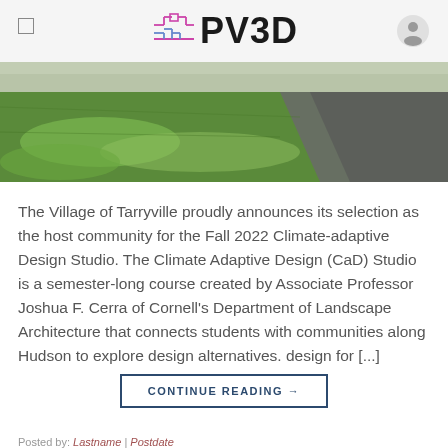PV3D
[Figure (photo): Outdoor landscape photo showing green grass lawn with a paved path or road in the background]
The Village of Tarryville proudly announces its selection as the host community for the Fall 2022 Climate-adaptive Design Studio. The Climate Adaptive Design (CaD) Studio is a semester-long course created by Associate Professor Joshua F. Cerra of Cornell's Department of Landscape Architecture that connects students with communities along Hudson to explore design alternatives. design for [...]
CONTINUE READING →
Posted by: Lastname | Postdate